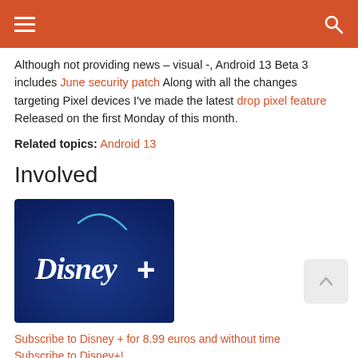Navigation bar with hamburger menu and search icon
Although not providing news – visual -, Android 13 Beta 3 includes June security patch Along with all the changes targeting Pixel devices I've made the latest drop pixel feature Released on the first Monday of this month.
Related topics: Android 13
Involved
[Figure (logo): Disney+ logo on dark blue background]
Subscribe to Disney + for 8.99 euros and without time Subscribe to Disney+!